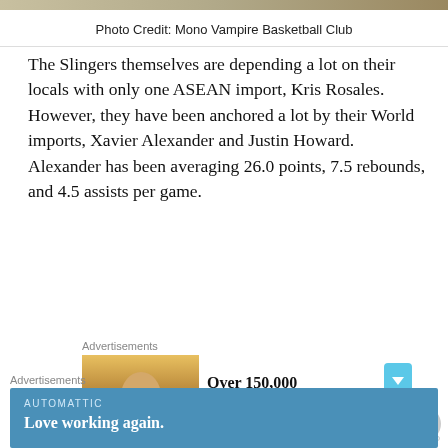[Figure (photo): Partial photo strip at top of page showing basketball-related image]
Photo Credit: Mono Vampire Basketball Club
The Slingers themselves are depending a lot on their locals with only one ASEAN import, Kris Rosales. However, they have been anchored a lot by their World imports, Xavier Alexander and Justin Howard. Alexander has been averaging 26.0 points, 7.5 rebounds, and 4.5 assists per game.
[Figure (screenshot): Advertisement: DayOne Journal app ad showing 'Over 150,000 5-star reviews' with photo of person and DayOne logo]
Ng Han Bin and Wu Qing De will also be returning to the
[Figure (screenshot): Advertisement banner: Automattic - Love working again.]